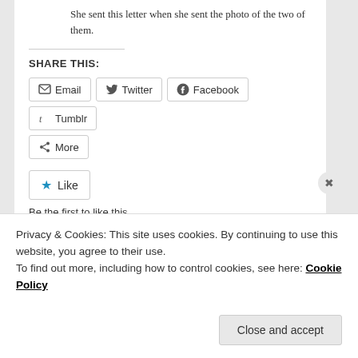She sent this letter when she sent the photo of the two of them.
SHARE THIS:
Email  Twitter  Facebook  Tumblr  More
Like
Be the first to like this.
Posted in #ART | Tagged #Canvas, #Germany, #Paris, brushstroke, Death, Diego, Helga Voci, home / studio, Les Deux Magots, Love, Moment, Oil Paintings, paints, photo, Rare, Schwetzingen | Leave a reply
Privacy & Cookies: This site uses cookies. By continuing to use this website, you agree to their use.
To find out more, including how to control cookies, see here: Cookie Policy
Close and accept